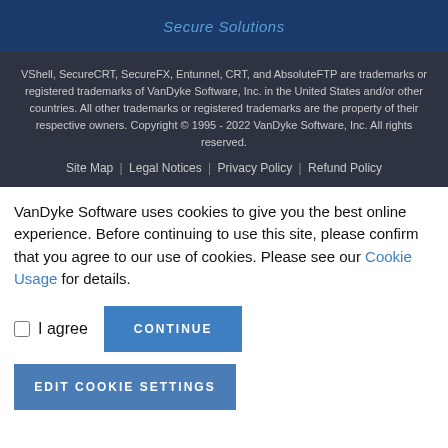Secure Solutions
VShell, SecureCRT, SecureFX, Entunnel, CRT, and AbsoluteFTP are trademarks or registered trademarks of VanDyke Software, Inc. in the United States and/or other countries. All other trademarks or registered trademarks are the property of their respective owners. Copyright © 1995 - 2022 VanDyke Software, Inc. All rights reserved.
Site Map  |  Legal Notices  |  Privacy Policy  |  Refund Policy
VanDyke Software uses cookies to give you the best online experience. Before continuing to use this site, please confirm that you agree to our use of cookies. Please see our Cookie Usage for details.
I agree
CONTINUE
EDIT COOKIE SETTINGS